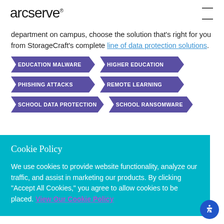arcserve®
department on campus, choose the solution that's right for you from StorageCraft's complete line of data protection solutions.
EDUCATION MALWARE
HIGHER EDUCATION
PHISHING ATTACKS
REMOTE LEARNING
SCHOOL DATA PROTECTION
SCHOOL RANSOMWARE
Cookie Policy
We use cookies to provide website functionality, analyze our traffic, and assist in marketing our products. By clicking "Accept All Cookies," you agree to allow cookies to be placed. View Our Cookie Policy